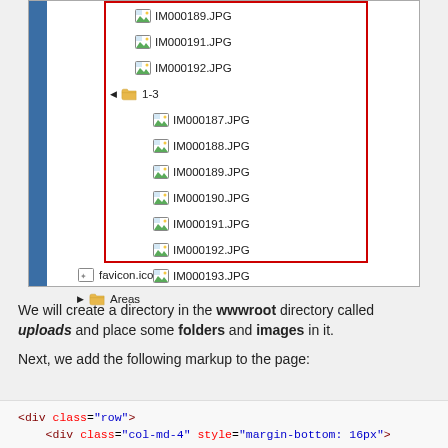[Figure (screenshot): File explorer tree view screenshot showing image files (IM000187.JPG through IM000193.JPG) inside folder 1-3, with red border highlight. Files IM000189.JPG, IM000191.JPG, IM000192.JPG appear above the folder. Below the highlight box: favicon.ico and Areas folder.]
We will create a directory in the wwwroot directory called uploads and place some folders and images in it.
Next, we add the following markup to the page:
<div class="row">
    <div class="col-md-4" style="margin-bottom: 16px">
        <RadzenTree Change="@LogChange" Data="@Directorі